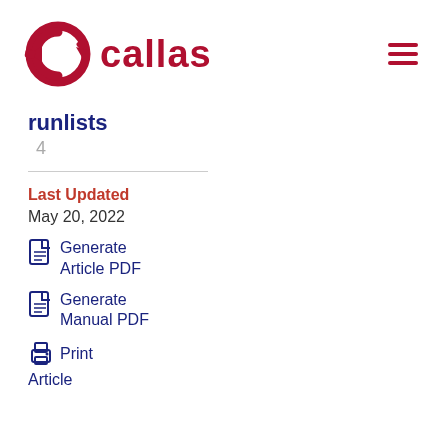[Figure (logo): Callas software logo — red circular gear/arrow icon on the left, bold red text 'callas' on the right]
runlists
4
Last Updated
May 20, 2022
Generate Article PDF
Generate Manual PDF
Print
Article